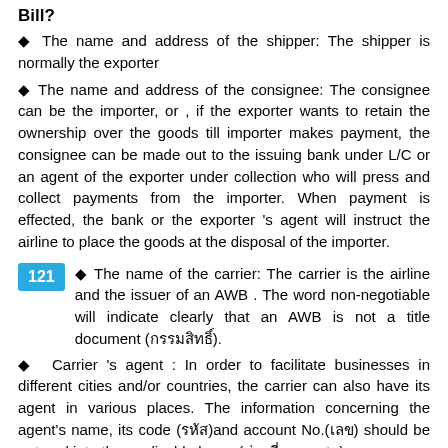Bill?
The name and address of the shipper: The shipper is normally the exporter
The name and address of the consignee: The consignee can be the importer, or , if the exporter wants to retain the ownership over the goods till importer makes payment, the consignee can be made out to the issuing bank under L/C or an agent of the exporter under collection who will press and collect payments from the importer. When payment is effected, the bank or the exporter 's agent will instruct the airline to place the goods at the disposal of the importer.
121 ◆ The name of the carrier: The carrier is the airline and the issuer of an AWB . The word non-negotiable will indicate clearly that an AWB is not a title document (กรรมสิทธิ์).
◆  Carrier 's agent : In order to facilitate businesses in different cities and/or countries, the carrier can also have its agent in various places. The information concerning the agent's name, its code (รหัส)and account No.(เลข) should be entered into the applicable boxes(ช่องที่เหมาะสม).
122 ◆ The name of the airports: The name of airport of